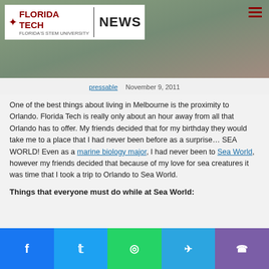Florida Tech NEWS
pressable   November 9, 2011
One of the best things about living in Melbourne is the proximity to Orlando. Florida Tech is really only about an hour away from all that Orlando has to offer. My friends decided that for my birthday they would take me to a place that I had never been before as a surprise… SEA WORLD! Even as a marine biology major, I had never been to Sea World, however my friends decided that because of my love for sea creatures it was time that I took a trip to Orlando to Sea World.
Things that everyone must do while at Sea World: